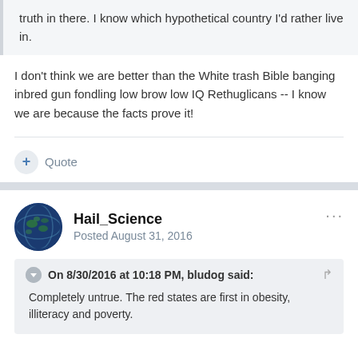truth in there. I know which hypothetical country I'd rather live in.
I don't think we are better than the White trash Bible banging inbred gun fondling low brow low IQ Rethuglicans -- I know we are because the facts prove it!
Hail_Science
Posted August 31, 2016
On 8/30/2016 at 10:18 PM, bludog said:
Completely untrue. The red states are first in obesity, illiteracy and poverty.